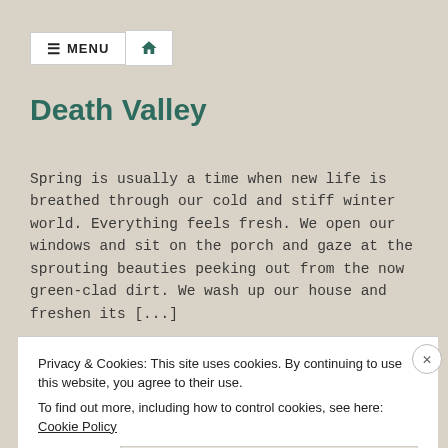≡ MENU  🏠
Death Valley
Spring is usually a time when new life is breathed through our cold and stiff winter world. Everything feels fresh. We open our windows and sit on the porch and gaze at the sprouting beauties peeking out from the now green-clad dirt. We wash up our house and freshen its [...]
Estimated reading time: 3 minutes
Privacy & Cookies: This site uses cookies. By continuing to use this website, you agree to their use.
To find out more, including how to control cookies, see here: Cookie Policy
Follow